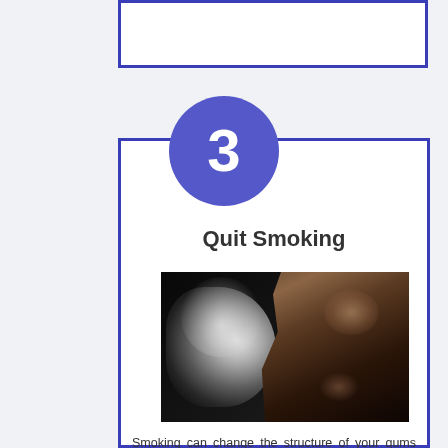[Figure (other): Top decorative box with blue border, partially visible at top of page]
[Figure (infographic): Step 3 infographic card with blue border. Contains a purple circle with white number 3, title 'Quit Smoking', a photo of a woman smoking with smoke cloud, and descriptive text.]
Quit Smoking
[Figure (photo): Dark photograph of a young woman with long hair exhaling a large cloud of white smoke, holding a cigarette, against a black background]
Smoking can change the structure of your gums and make them more susceptible to